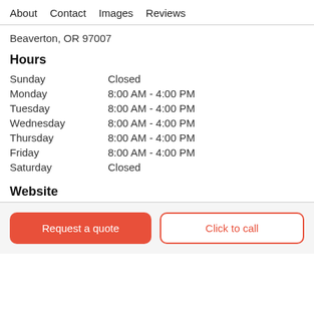About   Contact   Images   Reviews
Beaverton, OR 97007
Hours
| Day | Hours |
| --- | --- |
| Sunday | Closed |
| Monday | 8:00 AM - 4:00 PM |
| Tuesday | 8:00 AM - 4:00 PM |
| Wednesday | 8:00 AM - 4:00 PM |
| Thursday | 8:00 AM - 4:00 PM |
| Friday | 8:00 AM - 4:00 PM |
| Saturday | Closed |
Website
Request a quote
Click to call